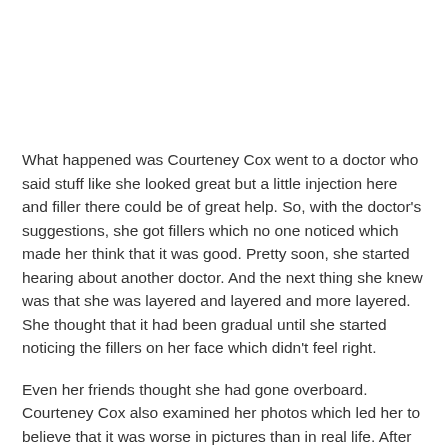What happened was Courteney Cox went to a doctor who said stuff like she looked great but a little injection here and filler there could be of great help. So, with the doctor's suggestions, she got fillers which no one noticed which made her think that it was good. Pretty soon, she started hearing about another doctor. And the next thing she knew was that she was layered and layered and more layered. She thought that it had been gradual until she started noticing the fillers on her face which didn't feel right.
Even her friends thought she had gone overboard. Courteney Cox also examined her photos which led her to believe that it was worse in pictures than in real life. After